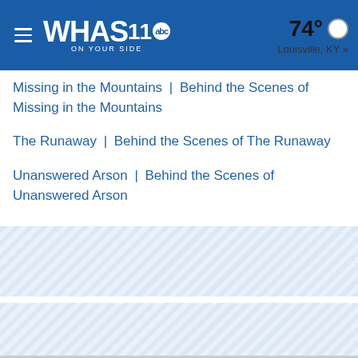WHAS11 abc ON YOUR SIDE | 74° Louisville, KY »
Missing in the Mountains | Behind the Scenes of Missing in the Mountains
The Runaway | Behind the Scenes of The Runaway
Unanswered Arson | Behind the Scenes of Unanswered Arson
[Figure (other): Striped placeholder block 1]
[Figure (other): Striped placeholder block 2]